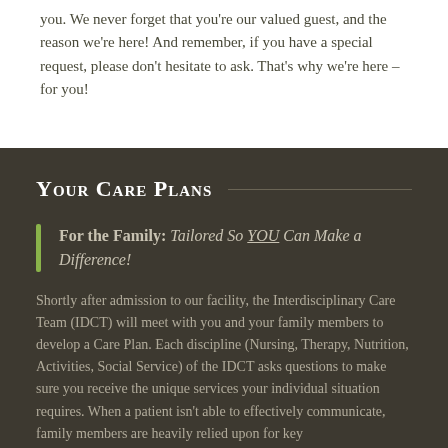you. We never forget that you're our valued guest, and the reason we're here! And remember, if you have a special request, please don't hesitate to ask. That's why we're here – for you!
Your Care Plans
For the Family:  Tailored So YOU Can Make a Difference!
Shortly after admission to our facility, the Interdisciplinary Care Team (IDCT) will meet with you and your family members to develop a Care Plan.  Each discipline (Nursing, Therapy, Nutrition, Activities, Social Service) of the IDCT asks questions to make sure you receive the unique services your individual situation requires.  When a patient isn't able to effectively communicate, family members are heavily relied upon for key